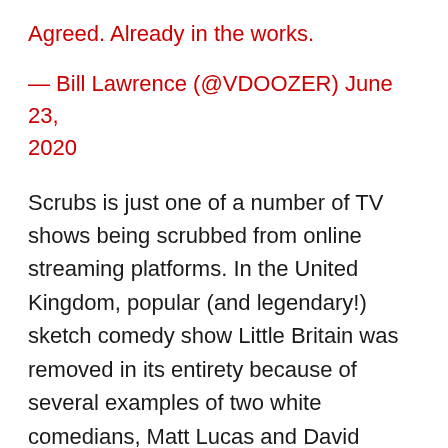Agreed. Already in the works.
— Bill Lawrence (@VDOOZER) June 23, 2020
Scrubs is just one of a number of TV shows being scrubbed from online streaming platforms. In the United Kingdom, popular (and legendary!) sketch comedy show Little Britain was removed in its entirety because of several examples of two white comedians, Matt Lucas and David Walliams, portraying people of all races and ethnicities.